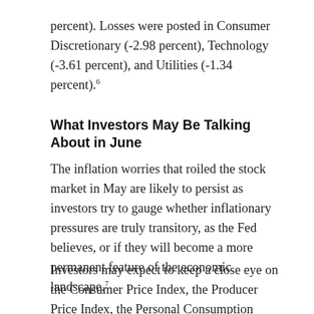percent). Losses were posted in Consumer Discretionary (-2.98 percent), Technology (-3.61 percent), and Utilities (-1.34 percent).6
What Investors May Be Talking About in June
The inflation worries that roiled the stock market in May are likely to persist as investors try to gauge whether inflationary pressures are truly transitory, as the Fed believes, or if they will become a more permanent feature of the economic landscape.7
Investors may expect to keep a close eye on the Consumer Price Index, the Producer Price Index, the Personal Consumption Expenditures Index, and the wage growth component of the monthly employment report that captures job growth and